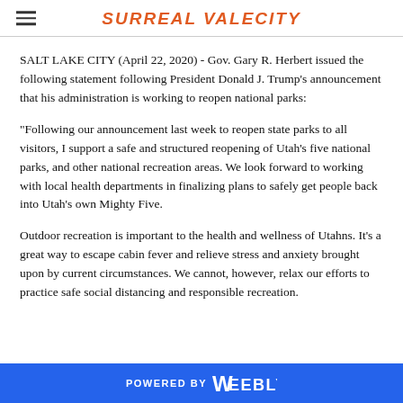SURREAL VALECITY
SALT LAKE CITY (April 22, 2020) - Gov. Gary R. Herbert issued the following statement following President Donald J. Trump's announcement that his administration is working to reopen national parks:
“Following our announcement last week to reopen state parks to all visitors, I support a safe and structured reopening of Utah’s five national parks, and other national recreation areas. We look forward to working with local health departments in finalizing plans to safely get people back into Utah’s own Mighty Five.
Outdoor recreation is important to the health and wellness of Utahns. It’s a great way to escape cabin fever and relieve stress and anxiety brought upon by current circumstances. We cannot, however, relax our efforts to practice safe social distancing and responsible recreation.
POWERED BY weebly